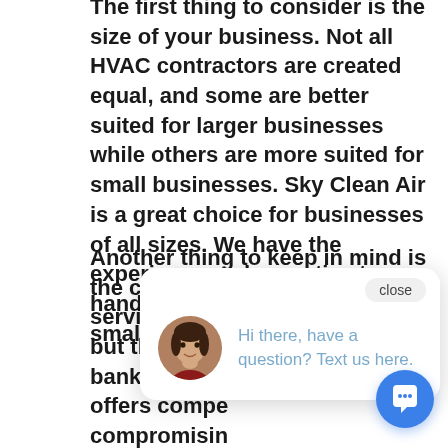The first thing to consider is the size of your business. Not all HVAC contractors are created equal, and some are better suited for larger businesses while others are more suited for small businesses. Sky Clean Air is a great choice for businesses of all sizes. We have the experience and expertise to handle any size project, big or small.
Another thing to keep in mind is the cost of services. HVAC contractors can be expensive, but that doesn't mean you have to break the bank to get quality service. Sky Clean Air offers competitive pricing without compromising on quality. We believe that customers should get the best possible value for their money, and we work hard to ensure that they do.
[Figure (other): Chat widget popup with avatar photo of a woman, close button, and message 'Hi there, have a question? Text us here.' with a blue circular chat button in the bottom right corner.]